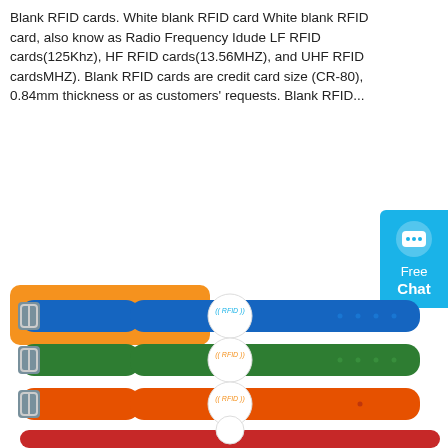Blank RFID cards. White blank RFID card White blank RFID card, also know as Radio Frequency Idude LF RFID cards(125Khz), HF RFID cards(13.56MHZ), and UHF RFID cardsMHZ). Blank RFID cards are credit card size (CR-80), 0.84mm thickness or as customers' requests. Blank RFID...
[Figure (illustration): Orange 'Get Price' button]
[Figure (illustration): Blue 'Free Chat' widget on right side with chat bubble icon]
[Figure (photo): Three RFID silicone wristbands stacked: blue on top, green in middle, orange below, each with white circular RFID chip labeled '(( RFID ))' and buckle clasp on left. A fourth red wristband partially visible at bottom.]